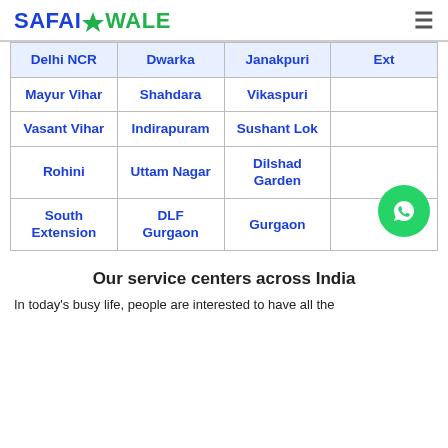SAFAIWALE
| Delhi NCR | Dwarka | Janakpuri | Ext |
| --- | --- | --- | --- |
| Mayur Vihar | Shahdara | Vikaspuri |  |
| Vasant Vihar | Indirapuram | Sushant Lok |  |
| Rohini | Uttam Nagar | Dilshad Garden |  |
| South Extension | DLF Gurgaon | Gurgaon |  |
Our service centers across India
In today's busy life, people are interested to have all the